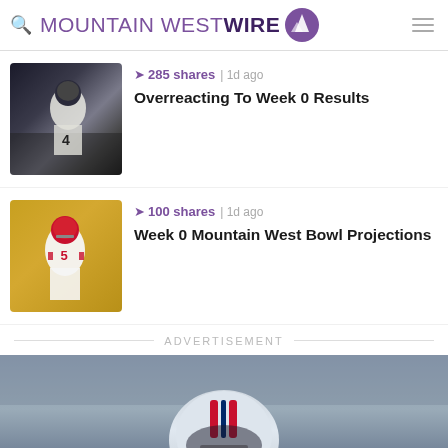MOUNTAIN WEST WIRE
➤ 285 shares | 1d ago
Overreacting To Week 0 Results
[Figure (photo): Football player in black/white uniform running with ball, number 4]
➤ 100 shares | 1d ago
Week 0 Mountain West Bowl Projections
[Figure (photo): Football player in red/white uniform number 5 catching or carrying ball]
ADVERTISEMENT
[Figure (photo): Close-up photo of football player wearing helmet with red white and blue design]